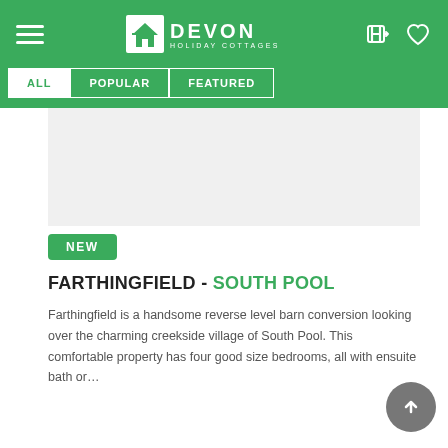[Figure (logo): Devon Holiday Cottages logo with house icon and text]
ALL
POPULAR
FEATURED
[Figure (photo): Blank/loading property image area]
NEW
FARTHINGFIELD - SOUTH POOL
Farthingfield is a handsome reverse level barn conversion looking over the charming creekside village of South Pool. This comfortable property has four good size bedrooms, all with ensuite bath or…